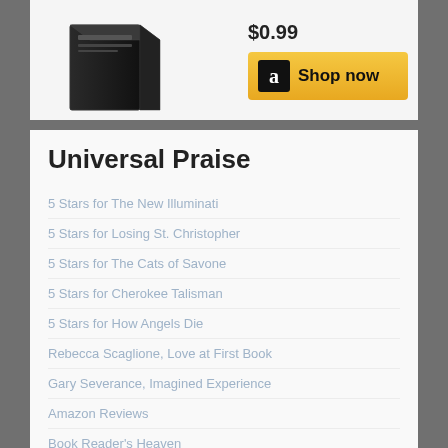[Figure (illustration): Book product box graphic shown in top-left area of panel]
$0.99
[Figure (logo): Amazon 'a' logo inside black square, part of 'Shop now' button]
Shop now
Universal Praise
5 Stars for The New Illuminati
5 Stars for Losing St. Christopher
5 Stars for The Cats of Savone
5 Stars for Cherokee Talisman
5 Stars for How Angels Die
Rebecca Scaglione, Love at First Book
Gary Severance, Imagined Experience
Amazon Reviews
Book Reader's Heaven